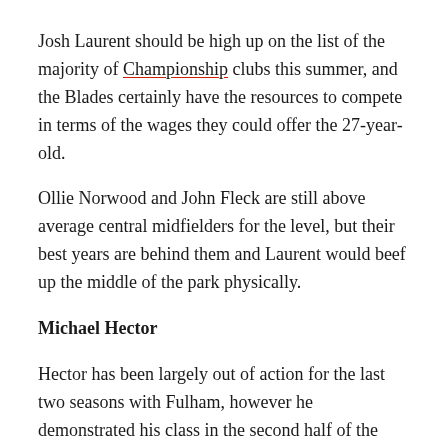Josh Laurent should be high up on the list of the majority of Championship clubs this summer, and the Blades certainly have the resources to compete in terms of the wages they could offer the 27-year-old.
Ollie Norwood and John Fleck are still above average central midfielders for the level, but their best years are behind them and Laurent would beef up the middle of the park physically.
Michael Hector
Hector has been largely out of action for the last two seasons with Fulham, however he demonstrated his class in the second half of the 2019/20 season with the Cottagers.